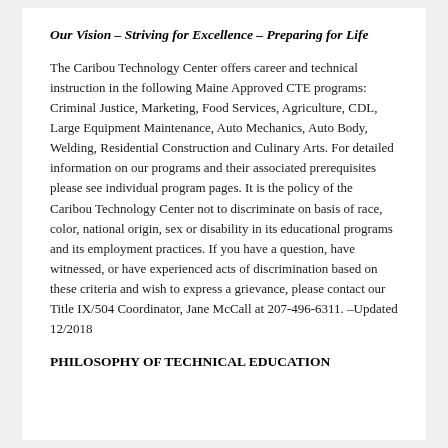Our Vision – Striving for Excellence – Preparing for Life
The Caribou Technology Center offers career and technical instruction in the following Maine Approved CTE programs: Criminal Justice, Marketing, Food Services, Agriculture, CDL, Large Equipment Maintenance, Auto Mechanics, Auto Body, Welding, Residential Construction and Culinary Arts. For detailed information on our programs and their associated prerequisites please see individual program pages. It is the policy of the Caribou Technology Center not to discriminate on basis of race, color, national origin, sex or disability in its educational programs and its employment practices. If you have a question, have witnessed, or have experienced acts of discrimination based on these criteria and wish to express a grievance, please contact our Title IX/504 Coordinator, Jane McCall at 207-496-6311. –Updated 12/2018
PHILOSOPHY OF TECHNICAL EDUCATION